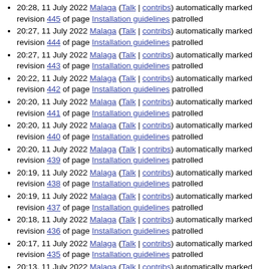20:28, 11 July 2022 Malaga (Talk | contribs) automatically marked revision 445 of page Installation guidelines patrolled
20:27, 11 July 2022 Malaga (Talk | contribs) automatically marked revision 444 of page Installation guidelines patrolled
20:27, 11 July 2022 Malaga (Talk | contribs) automatically marked revision 443 of page Installation guidelines patrolled
20:22, 11 July 2022 Malaga (Talk | contribs) automatically marked revision 442 of page Installation guidelines patrolled
20:20, 11 July 2022 Malaga (Talk | contribs) automatically marked revision 441 of page Installation guidelines patrolled
20:20, 11 July 2022 Malaga (Talk | contribs) automatically marked revision 440 of page Installation guidelines patrolled
20:20, 11 July 2022 Malaga (Talk | contribs) automatically marked revision 439 of page Installation guidelines patrolled
20:19, 11 July 2022 Malaga (Talk | contribs) automatically marked revision 438 of page Installation guidelines patrolled
20:19, 11 July 2022 Malaga (Talk | contribs) automatically marked revision 437 of page Installation guidelines patrolled
20:18, 11 July 2022 Malaga (Talk | contribs) automatically marked revision 436 of page Installation guidelines patrolled
20:17, 11 July 2022 Malaga (Talk | contribs) automatically marked revision 435 of page Installation guidelines patrolled
20:13, 11 July 2022 Malaga (Talk | contribs) automatically marked revision 434 of page Installation guidelines patrolled
20:12, 11 July 2022 Malaga (Talk | contribs) automatically